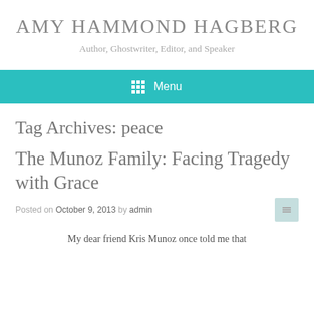AMY HAMMOND HAGBERG
Author, Ghostwriter, Editor, and Speaker
Menu
Tag Archives: peace
The Munoz Family: Facing Tragedy with Grace
Posted on October 9, 2013 by admin
My dear friend Kris Munoz once told me that